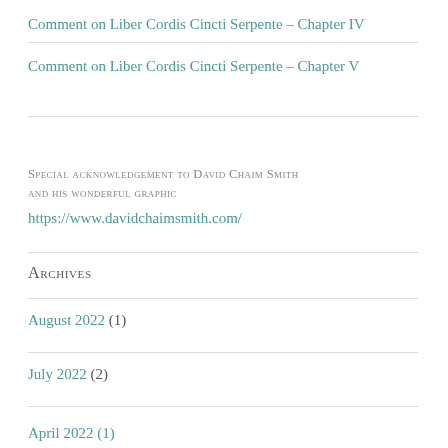Comment on Liber Cordis Cincti Serpente – Chapter IV
Comment on Liber Cordis Cincti Serpente – Chapter V
Special acknowledgement to David Chaim Smith and his wonderful graphic
https://www.davidchaimsmith.com/
Archives
August 2022 (1)
July 2022 (2)
April 2022 (1)